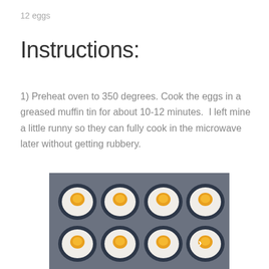12 eggs
Instructions:
1) Preheat oven to 350 degrees. Cook the eggs in a greased muffin tin for about 10-12 minutes.  I left mine a little runny so they can fully cook in the microwave later without getting rubbery.
[Figure (photo): Overhead view of eggs baked in a greased muffin tin, showing cooked egg whites with orange-yellow yolks in a metal muffin pan, arranged in a 4x3 grid pattern.]